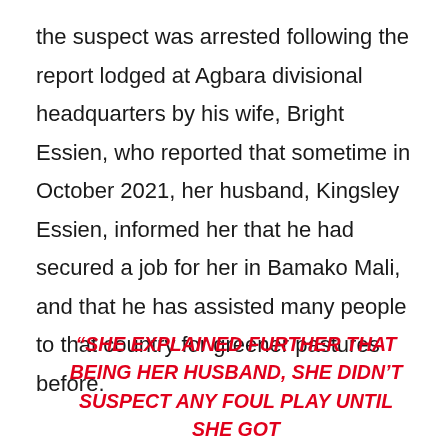the suspect was arrested following the report lodged at Agbara divisional headquarters by his wife, Bright Essien, who reported that sometime in October 2021, her husband, Kingsley Essien, informed her that he had secured a job for her in Bamako Mali, and that he has assisted many people to that country for greener pastures before.
“SHE EXPLAINED FURTHER THAT BEING HER HUSBAND, SHE DIDN’T SUSPECT ANY FOUL PLAY UNTIL SHE GOT